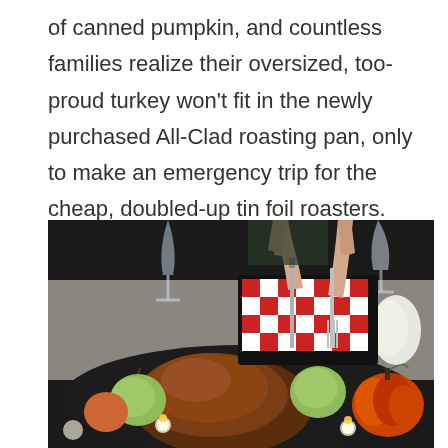of canned pumpkin, and countless families realize their oversized, too-proud turkey won't fit in the newly purchased All-Clad roasting pan, only to make an emergency trip for the cheap, doubled-up tin foil roasters.
[Figure (photo): A Thanksgiving scene with a roasted turkey being carved with knife and fork, surrounded by apples, a pumpkin, candles, and wine glasses on a dark serving tray. Hands are visible holding the carving utensils. A red and white checkered trivet is visible in the background.]